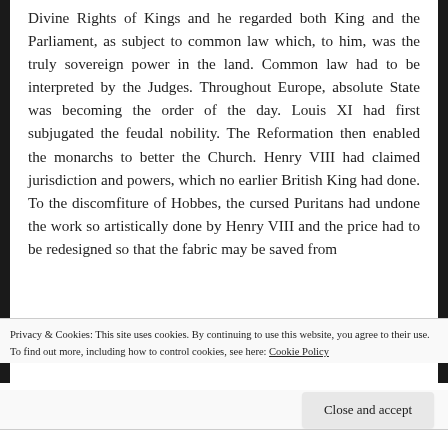Divine Rights of Kings and he regarded both King and the Parliament, as subject to common law which, to him, was the truly sovereign power in the land. Common law had to be interpreted by the Judges. Throughout Europe, absolute State was becoming the order of the day. Louis XI had first subjugated the feudal nobility. The Reformation then enabled the monarchs to better the Church. Henry VIII had claimed jurisdiction and powers, which no earlier British King had done. To the discomfiture of Hobbes, the cursed Puritans had undone the work so artistically done by Henry VIII and the price had to be redesigned so that the fabric may be saved from
Privacy & Cookies: This site uses cookies. By continuing to use this website, you agree to their use.
To find out more, including how to control cookies, see here: Cookie Policy
Close and accept